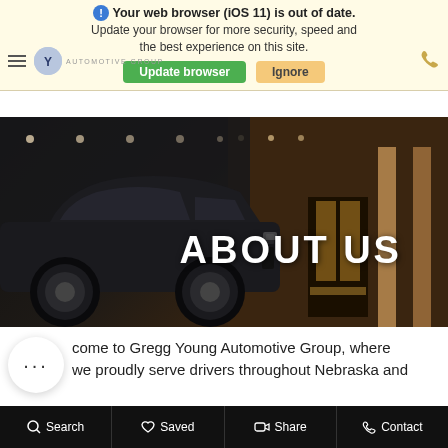Your web browser (iOS 11) is out of date. Update your browser for more security, speed and the best experience on this site.
Update browser | Ignore
[Figure (screenshot): Hero image of a dark SUV (Jeep Grand Cherokee) parked in front of a building with warm-lit entrance and columns, with ABOUT US text overlay]
ABOUT US
come to Gregg Young Automotive Group, where we proudly serve drivers throughout Nebraska and
Search  Saved  Share  Contact